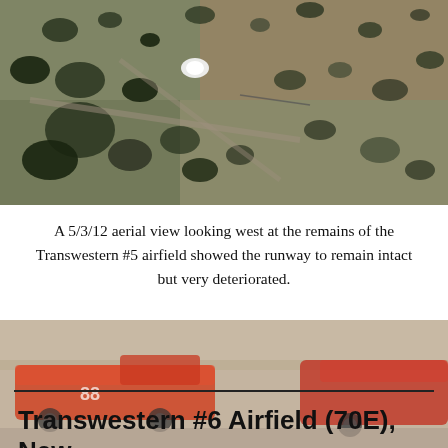[Figure (photo): Aerial satellite view looking west at the remains of the Transwestern #5 airfield, showing terrain with dark scrub vegetation patches and a deteriorated runway visible from above.]
A 5/3/12 aerial view looking west at the remains of the Transwestern #5 airfield showed the runway to remain intact but very deteriorated.
[Figure (photo): Ground-level photograph showing orange/red heavy equipment or vehicles at the Transwestern airfield site, with arid landscape in background.]
Transwestern #6 Airfield (70E), New